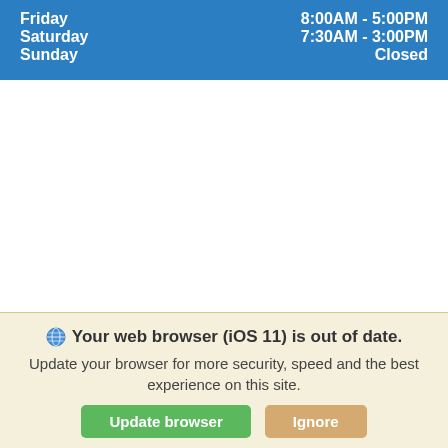| Day | Hours |
| --- | --- |
| Friday | 8:00AM - 5:00PM |
| Saturday | 7:30AM - 3:00PM |
| Sunday | Closed |
Your web browser (iOS 11) is out of date. Update your browser for more security, speed and the best experience on this site.
Update browser | Ignore